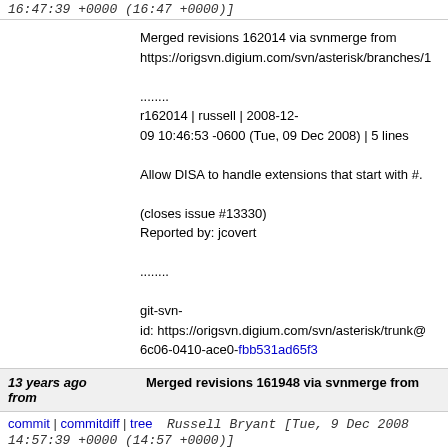16:47:39 +0000 (16:47 +0000)]
Merged revisions 162014 via svnmerge from https://origsvn.digium.com/svn/asterisk/branches/1

........
r162014 | russell | 2008-12-09 10:46:53 -0600 (Tue, 09 Dec 2008) | 5 lines

Allow DISA to handle extensions that start with #.

(closes issue #13330)
Reported by: jcovert

........

git-svn-id: https://origsvn.digium.com/svn/asterisk/trunk@6c06-0410-ace0-fbb531ad65f3
13 years ago from
Merged revisions 161948 via svnmerge from
commit | commitdiff | tree   Russell Bryant [Tue, 9 Dec 2008 14:57:39 +0000 (14:57 +0000)]
Merged revisions 161948 via svnmerge from https://origsvn.digium.com/svn/asterisk/branches/1